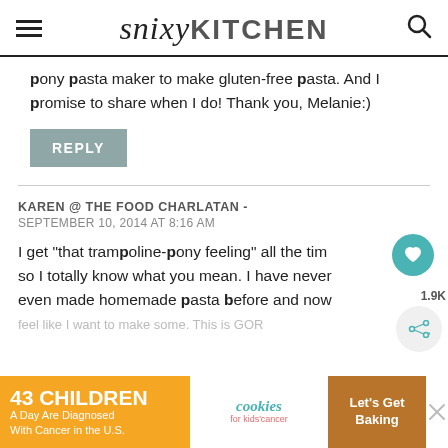snixy KITCHEN
pony pasta maker to make gluten-free pasta. And I promise to share when I do! Thank you, Melanie:)
REPLY
KAREN @ THE FOOD CHARLATAN - SEPTEMBER 10, 2014 AT 8:16 AM
I get "that trampoline-pony feeling" all the time so I totally know what you mean. I have never even made homemade pasta before and now I feel like I want to make some. This is GORGEOUS, but...ever.
[Figure (screenshot): Advertisement banner: '43 Children A Day Are Diagnosed With Cancer in the U.S.' with cookies for kids' cancer logo and 'Let's Get Baking' button]